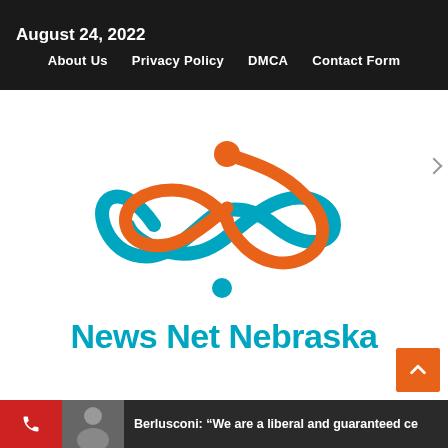August 24, 2022  About Us  Privacy Policy  DMCA  Contact Form
[Figure (logo): News Net Nebraska logo — an infinity/figure-8 swirl in orange and teal with a dot above and below, above the text 'News Net Nebraska' in bold teal.]
Berlusconi: “We are a liberal and guaranteed ce